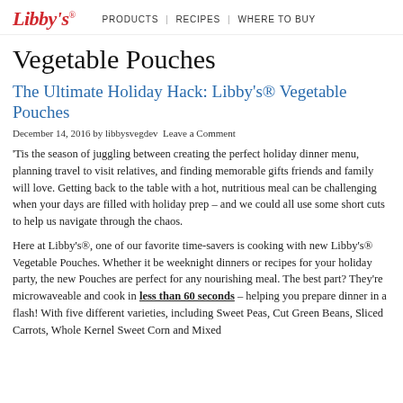Libby's  PRODUCTS | RECIPES | WHERE TO BUY
Vegetable Pouches
The Ultimate Holiday Hack: Libby's® Vegetable Pouches
December 14, 2016 by libbysvegdev Leave a Comment
'Tis the season of juggling between creating the perfect holiday dinner menu, planning travel to visit relatives, and finding memorable gifts friends and family will love. Getting back to the table with a hot, nutritious meal can be challenging when your days are filled with holiday prep – and we could all use some short cuts to help us navigate through the chaos.
Here at Libby's®, one of our favorite time-savers is cooking with new Libby's® Vegetable Pouches. Whether it be weeknight dinners or recipes for your holiday party, the new Pouches are perfect for any nourishing meal. The best part? They're microwaveable and cook in less than 60 seconds – helping you prepare dinner in a flash! With five different varieties, including Sweet Peas, Cut Green Beans, Sliced Carrots, Whole Kernel Sweet Corn and Mixed